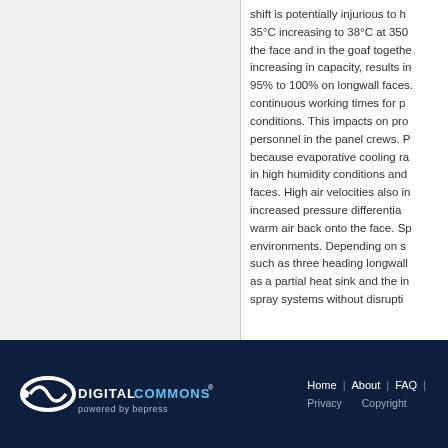shift is potentially injurious to health. Wet bulb temperatures of 35°C increasing to 38°C at 350 m depth are common in the face and in the goaf together, with machine heat increasing in capacity, results in a shift from possibly 95% to 100% on longwall faces. This reduces continuous working times for personnel and worsens conditions. This impacts on productivity and health of personnel in the panel crews. Problems are compounded because evaporative cooling rates become very low in high humidity conditions and on high production faces. High air velocities also increase wetting rates and increased pressure differentials at the face can push warm air back onto the face. Spray systems may help in environments. Depending on some face configurations such as three heading longwalls, goaf gas can be used as a partial heat sink and the installation of refrigerated spray systems without disrupti
DigitalCommons® powered by bepress | Home | About | FAQ | Privacy | Copyright